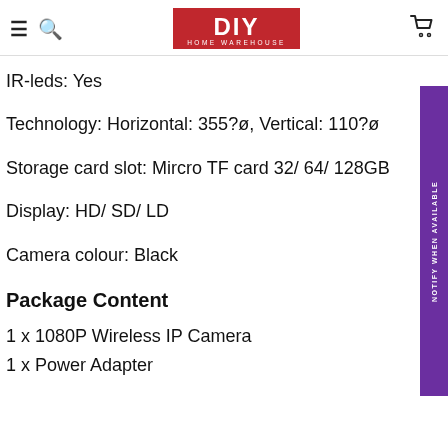DIY HOME WAREHOUSE [navigation header]
IR-leds: Yes
Technology: Horizontal: 355?ø, Vertical: 110?ø
Storage card slot: Mircro TF card 32/ 64/ 128GB
Display: HD/ SD/ LD
Camera colour: Black
Package Content
1 x 1080P Wireless IP Camera
1 x Power Adapter